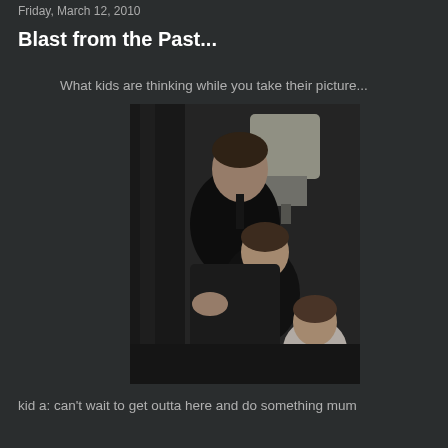Friday, March 12, 2010
Blast from the Past...
What kids are thinking while you take their picture...
[Figure (photo): Black and white vintage photograph of three children — an older boy in a dark suit with a tie, a younger girl in the middle also dressed formally, and a toddler girl at the bottom right in a light dress. A lamp is visible in the background.]
kid a: can't wait to get outta here and do something mum